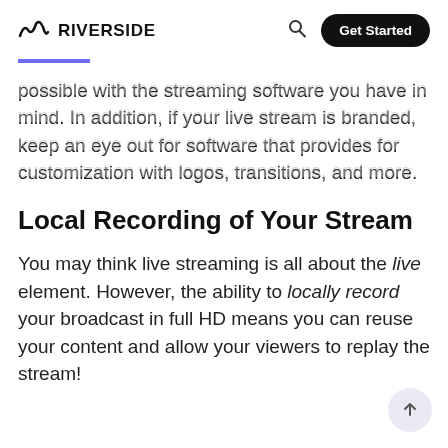RIVERSIDE
possible with the streaming software you have in mind. In addition, if your live stream is branded, keep an eye out for software that provides for customization with logos, transitions, and more.
Local Recording of Your Stream
You may think live streaming is all about the live element. However, the ability to locally record your broadcast in full HD means you can reuse your content and allow your viewers to replay the stream!